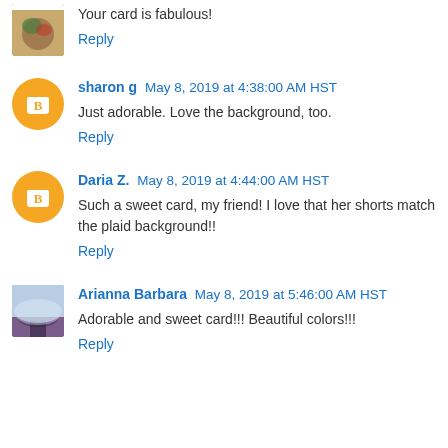[Figure (photo): Small square avatar image of food/dish, top-left corner, partially cropped]
Your card is fabulous!
Reply
[Figure (illustration): Orange circle avatar with white blogger 'B' icon for user sharon g]
sharon g May 8, 2019 at 4:38:00 AM HST
Just adorable. Love the background, too.
Reply
[Figure (illustration): Orange circle avatar with white blogger 'B' icon for user Daria Z.]
Daria Z. May 8, 2019 at 4:44:00 AM HST
Such a sweet card, my friend! I love that her shorts match the plaid background!!
Reply
[Figure (photo): Small square profile photo of Arianna Barbara, landscape/field scene]
Arianna Barbara May 8, 2019 at 5:46:00 AM HST
Adorable and sweet card!!! Beautiful colors!!!
Reply